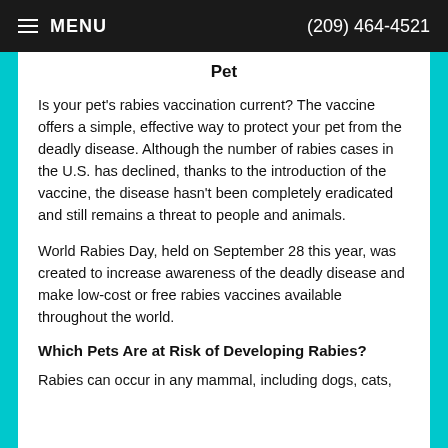≡ MENU   (209) 464-4521
Pet
Is your pet's rabies vaccination current? The vaccine offers a simple, effective way to protect your pet from the deadly disease. Although the number of rabies cases in the U.S. has declined, thanks to the introduction of the vaccine, the disease hasn't been completely eradicated and still remains a threat to people and animals.
World Rabies Day, held on September 28 this year, was created to increase awareness of the deadly disease and make low-cost or free rabies vaccines available throughout the world.
Which Pets Are at Risk of Developing Rabies?
Rabies can occur in any mammal, including dogs, cats,